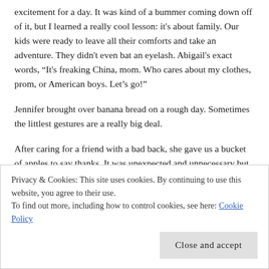excitement for a day. It was kind of a bummer coming down off of it, but I learned a really cool lesson: it's about family. Our kids were ready to leave all their comforts and take an adventure. They didn't even bat an eyelash. Abigail's exact words, “It's freaking China, mom. Who cares about my clothes, prom, or American boys. Let's go!”
Jennifer brought over banana bread on a rough day. Sometimes the littlest gestures are a really big deal.
After caring for a friend with a bad back, she gave us a bucket of apples to say thanks. It was unexpected and unnecessary but pretty wonderful…especially since she packaged it up in the cutest ever red bucket.
Privacy & Cookies: This site uses cookies. By continuing to use this website, you agree to their use.
To find out more, including how to control cookies, see here: Cookie Policy
Close and accept